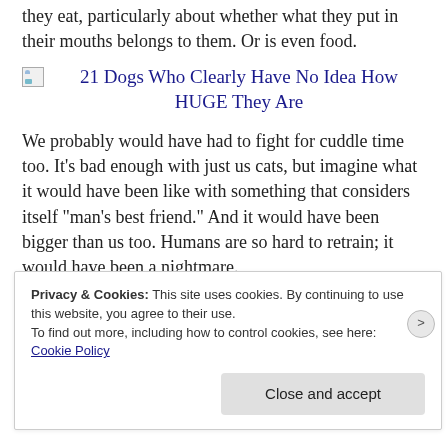they eat, particularly about whether what they put in their mouths belongs to them. Or is even food.
[Figure (other): Broken image icon linking to article '21 Dogs Who Clearly Have No Idea How HUGE They Are']
We probably would have had to fight for cuddle time too. It’s bad enough with just us cats, but imagine what it would have been like with something that considers itself “man’s best friend.” And it would have been bigger than us too. Humans are so hard to retrain; it would have been a nightmare.
Privacy & Cookies: This site uses cookies. By continuing to use this website, you agree to their use.
To find out more, including how to control cookies, see here:
Cookie Policy
Close and accept